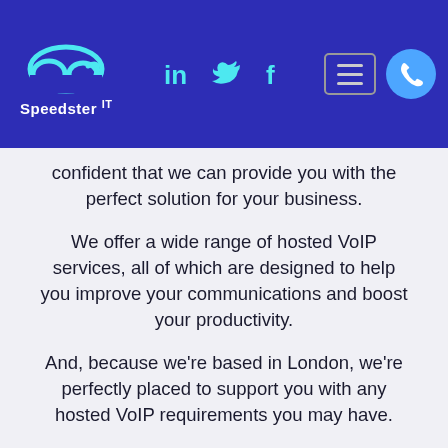Speedster IT — navigation header with LinkedIn, Twitter, Facebook icons, hamburger menu, and phone button
confident that we can provide you with the perfect solution for your business.
We offer a wide range of hosted VoIP services, all of which are designed to help you improve your communications and boost your productivity.
And, because we're based in London, we're perfectly placed to support you with any hosted VoIP requirements you may have.
So, if you're looking for the best hosted VoIP solution for your business, get in touch with us today. We'd be